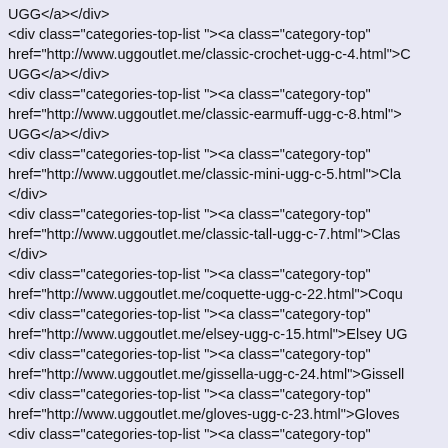UGG</a></div>
<div class="categories-top-list "><a class="category-top" href="http://www.uggoutlet.me/classic-crochet-ugg-c-4.html">C UGG</a></div>
<div class="categories-top-list "><a class="category-top" href="http://www.uggoutlet.me/classic-earmuff-ugg-c-8.html"> UGG</a></div>
<div class="categories-top-list "><a class="category-top" href="http://www.uggoutlet.me/classic-mini-ugg-c-5.html">Cla </div>
<div class="categories-top-list "><a class="category-top" href="http://www.uggoutlet.me/classic-tall-ugg-c-7.html">Clas </div>
<div class="categories-top-list "><a class="category-top" href="http://www.uggoutlet.me/coquette-ugg-c-22.html">Coqu <div class="categories-top-list "><a class="category-top" href="http://www.uggoutlet.me/elsey-ugg-c-15.html">Elsey UG <div class="categories-top-list "><a class="category-top" href="http://www.uggoutlet.me/gissella-ugg-c-24.html">Gissell <div class="categories-top-list "><a class="category-top" href="http://www.uggoutlet.me/gloves-ugg-c-23.html">Gloves <div class="categories-top-list "><a class="category-top" href="http://www.uggoutlet.me/jimmy-choo-ugg-c-26.html">Ji UGG</a></div>
<div class="categories-top-list "><a class="category-top" href="http://www.uggoutlet.me/kensington-ugg-c-29.html">K